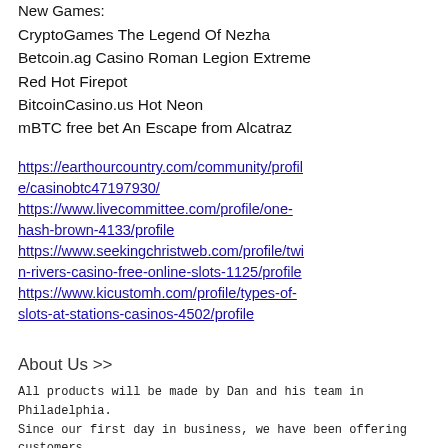New Games:
CryptoGames The Legend Of Nezha
Betcoin.ag Casino Roman Legion Extreme
Red Hot Firepot
BitcoinCasino.us Hot Neon
mBTC free bet An Escape from Alcatraz
https://earthourcountry.com/community/profile/casinobtc47197930/
https://www.livecommittee.com/profile/one-hash-brown-4133/profile
https://www.seekingchristweb.com/profile/twin-rivers-casino-free-online-slots-1125/profile
https://www.kicustomh.com/profile/types-of-slots-at-stations-casinos-4502/profile
About Us >>
All products will be made by Dan and his team in Philadelphia. Since our first day in business, we have been offering customers personalized items with unbeatable prices.
Quick Links